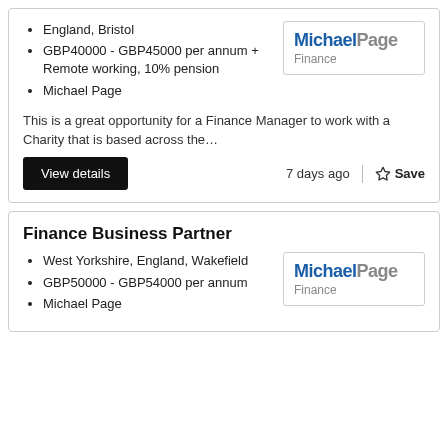England, Bristol
GBP40000 - GBP45000 per annum + Remote working, 10% pension
Michael Page
[Figure (logo): Michael Page Finance logo in a bordered box]
This is a great opportunity for a Finance Manager to work with a Charity that is based across the...
View details
7 days ago
Save
Finance Business Partner
West Yorkshire, England, Wakefield
GBP50000 - GBP54000 per annum
Michael Page
[Figure (logo): Michael Page Finance logo in a bordered box]